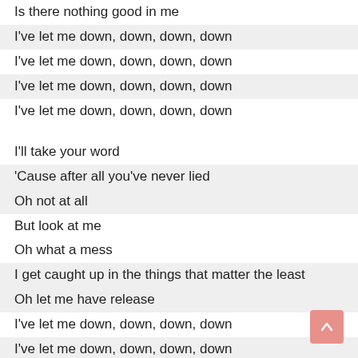Is there nothing good in me
I've let me down, down, down, down
I've let me down, down, down, down
I've let me down, down, down, down
I've let me down, down, down, down
I'll take your word
'Cause after all you've never lied
Oh not at all
But look at me
Oh what a mess
I get caught up in the things that matter the least
Oh let me have release
I've let me down, down, down, down
I've let me down, down, down, down
I've let me down, down, down, down
I've let me down, down, down, down